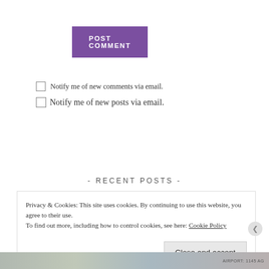[Figure (screenshot): Purple POST COMMENT button]
Notify me of new comments via email.
Notify me of new posts via email.
[Figure (screenshot): Search input field with placeholder text 'Search ...']
- RECENT POSTS -
Privacy & Cookies: This site uses cookies. By continuing to use this website, you agree to their use.
To find out more, including how to control cookies, see here: Cookie Policy
[Figure (screenshot): Close and accept button in cookie banner]
[Figure (screenshot): Bottom image strip with thumbnail images]